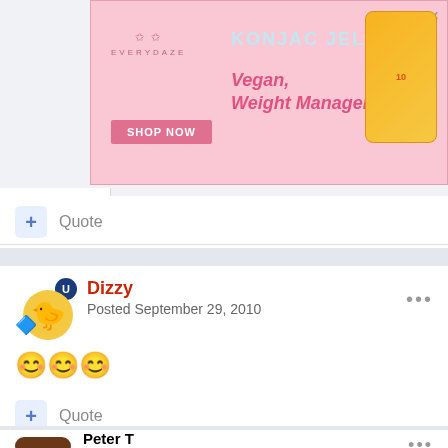[Figure (screenshot): Pink advertisement banner for Konjac Jelly by Everydaze. Shows 'KONJAC JELLY', 'Vegan, Weight Management', 'SHOP NOW' button, and product image. Has play and close icons in top right.]
Quote
Dizzy
Posted September 29, 2010
😊😊😊
Quote
Peter T
Posted September 29, 2010